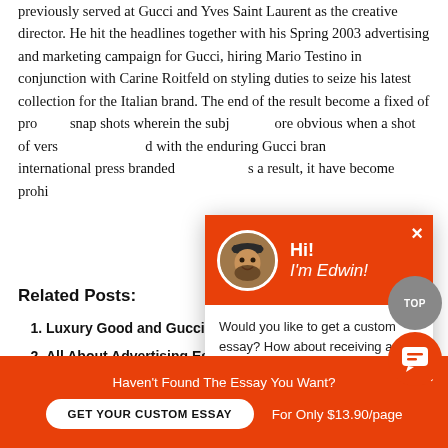previously served at Gucci and Yves Saint Laurent as the creative director. He hit the headlines together with his Spring 2003 advertising and marketing campaign for Gucci, hiring Mario Testino in conjunction with Carine Roitfeld on styling duties to seize his latest collection for the Italian brand. The end of the result become a fixed of pro… snap shots wherein the subj… ore obvious when a shot of vers… ed with the enduring Gucci bran… international press branded … a result, it have become prohi…
Related Posts:
Luxury Good and Gucci…
All About Advertising Es…
New Trends in Advertising Essay
Zara Essay
[Figure (screenshot): Popup chat widget with orange header showing avatar photo and 'Hi! I'm Edwin!' greeting, body text 'Would you like to get a custom essay? How about receiving a customized one?' with 'Check it out' link, and X close button]
Haven't Found The Essay You Want?
GET YOUR CUSTOM ESSAY
For Only $13.90/page